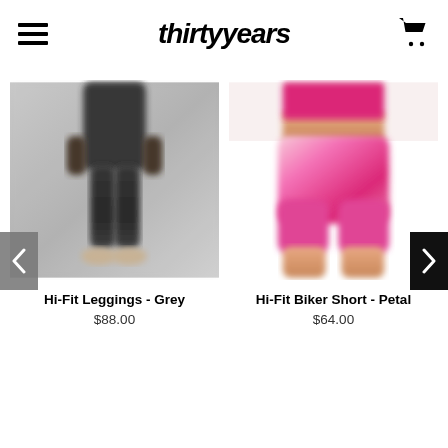thirtyyears
[Figure (photo): Product photo of Hi-Fit Leggings in grey, showing a model wearing black leggings, cropped at torso and legs]
Hi-Fit Leggings - Grey
$88.00
[Figure (photo): Product photo of Hi-Fit Biker Short in Petal pink/magenta, showing a model wearing bright pink biker shorts with a crop top]
Hi-Fit Biker Short - Petal
$64.00